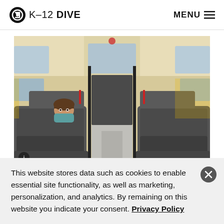K-12 DIVE  MENU
[Figure (photo): Interior of a school bus looking toward the back, showing rows of grey seats. A child wearing a mask peeks over a seat on the left side. Windows line both sides of the bus.]
DEEP DIVE
This website stores data such as cookies to enable essential site functionality, as well as marketing, personalization, and analytics. By remaining on this website you indicate your consent. Privacy Policy